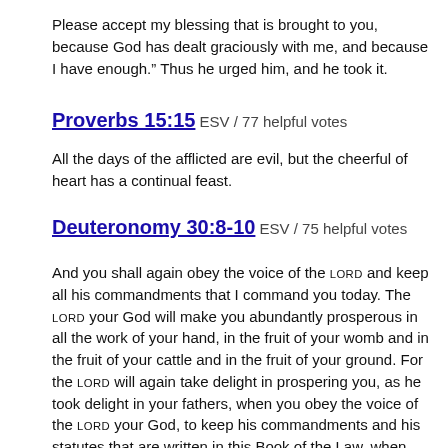Please accept my blessing that is brought to you, because God has dealt graciously with me, and because I have enough.” Thus he urged him, and he took it.
Proverbs 15:15 ESV / 77 helpful votes
All the days of the afflicted are evil, but the cheerful of heart has a continual feast.
Deuteronomy 30:8-10 ESV / 75 helpful votes
And you shall again obey the voice of the Lord and keep all his commandments that I command you today. The Lord your God will make you abundantly prosperous in all the work of your hand, in the fruit of your womb and in the fruit of your cattle and in the fruit of your ground. For the Lord will again take delight in prospering you, as he took delight in your fathers, when you obey the voice of the Lord your God, to keep his commandments and his statutes that are written in this Book of the Law, when you turn to the Lord your God with all your heart and with all your soul.